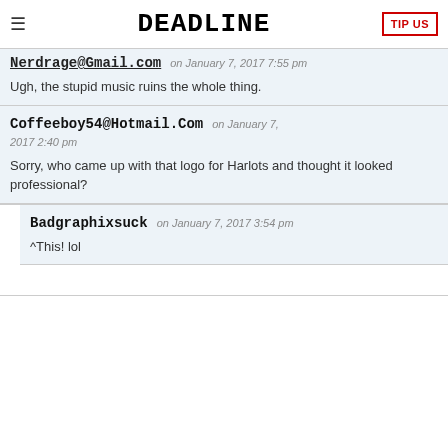DEADLINE | TIP US
Nerdrage@Gmail.Com on January 7, 2017 7:55 pm
Ugh, the stupid music ruins the whole thing.
Coffeeboy54@Hotmail.Com on January 7, 2017 2:40 pm
Sorry, who came up with that logo for Harlots and thought it looked professional?
Badgraphixsuck on January 7, 2017 3:54 pm
^This! lol